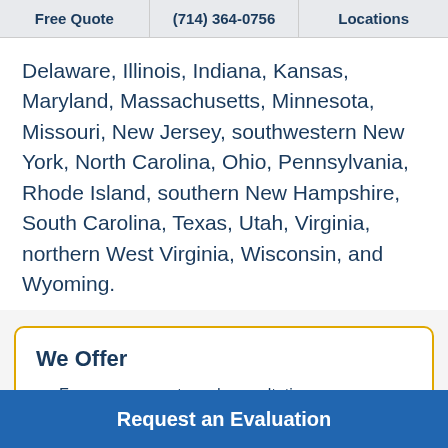Free Quote | (714) 364-0756 | Locations
Delaware, Illinois, Indiana, Kansas, Maryland, Massachusetts, Minnesota, Missouri, New Jersey, southwestern New York, North Carolina, Ohio, Pennsylvania, Rhode Island, southern New Hampshire, South Carolina, Texas, Utah, Virginia, northern West Virginia, Wisconsin, and Wyoming.
We Offer
Free assessments and consultation
Professional installation by certified technicians
Request an Evaluation